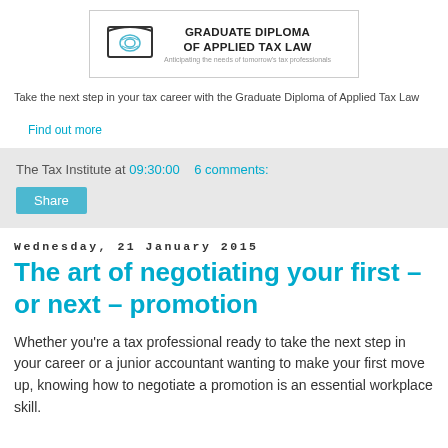[Figure (logo): Graduate Diploma of Applied Tax Law logo with book icon and tagline 'Anticipating the needs of tomorrow's tax professionals']
Take the next step in your tax career with the Graduate Diploma of Applied Tax Law
Find out more
The Tax Institute at 09:30:00   6 comments:
Share
Wednesday, 21 January 2015
The art of negotiating your first – or next – promotion
Whether you're a tax professional ready to take the next step in your career or a junior accountant wanting to make your first move up, knowing how to negotiate a promotion is an essential workplace skill.